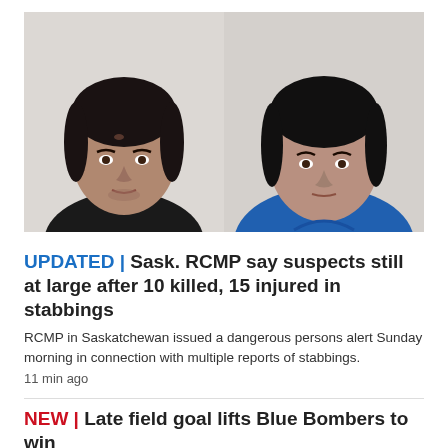[Figure (photo): Two male suspects side by side: left person wearing dark shirt against light wall background, right person wearing blue t-shirt against light background. Police booking-style photos.]
UPDATED | Sask. RCMP say suspects still at large after 10 killed, 15 injured in stabbings
RCMP in Saskatchewan issued a dangerous persons alert Sunday morning in connection with multiple reports of stabbings.
11 min ago
NEW | Late field goal lifts Blue Bombers to win